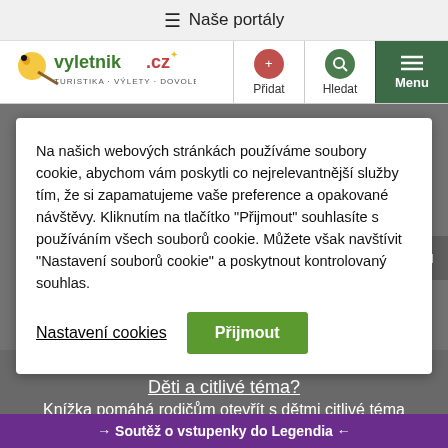≡ Naše portály
[Figure (logo): vyletnik.cz logo - TURISTIKA · VÝLETY · DOVOLENÁ with cartoon character]
Na našich webových stránkách používáme soubory cookie, abychom vám poskytli co nejrelevantnější služby tím, že si zapamatujeme vaše preference a opakované návštěvy. Kliknutím na tlačítko "Přijmout" souhlasíte s používáním všech souborů cookie. Můžete však navštívit "Nastavení souborů cookie" a poskytnout kontrolovaný souhlas.
Nastavení cookies
Přijmout
Zavřít reklamu
<
Děti a citlivé téma?
Knížka pomáhá rodičům otevřít s dětmi citlivé téma pornografie srozumitelným způsobem.
→ Soutěž o vstupenky do Legendia ←